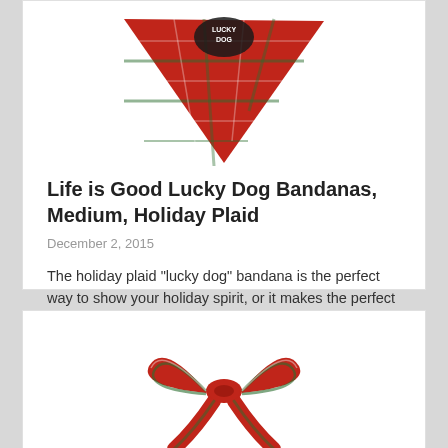[Figure (photo): Red holiday plaid Lucky Dog bandana (triangular shape) on white background, top portion cropped]
Life is Good Lucky Dog Bandanas, Medium, Holiday Plaid
December 2, 2015
The holiday plaid "lucky dog" bandana is the perfect way to show your holiday spirit, or it makes the perfect gift for a furry friend. Read More »
by: in Bandanas
177   Comments Off   0
[Figure (photo): Red holiday plaid bandana bow/ribbon on white background, partially visible at bottom of page]